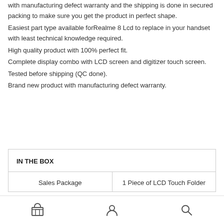with manufacturing defect warranty and the shipping is done in secured packing to make sure you get the product in perfect shape.
Easiest part type available forRealme 8 Lcd to replace in your handset with least technical knowledge required.
High quality product with 100% perfect fit.
Complete display combo with LCD screen and digitizer touch screen.
Tested before shipping (QC done).
Brand new product with manufacturing defect warranty.
| IN THE BOX |  |
| --- | --- |
| Sales Package | 1 Piece of LCD Touch Folder |
store icon | person icon | search icon